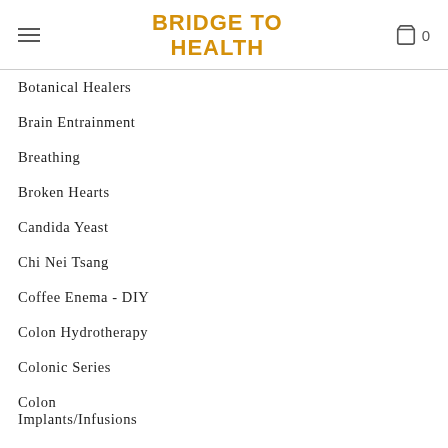BRIDGE TO HEALTH
Botanical Healers
Brain Entrainment
Breathing
Broken Hearts
Candida Yeast
Chi Nei Tsang
Coffee Enema - DIY
Colon Hydrotherapy
Colonic Series
Colon Implants/Infusions
Constipation